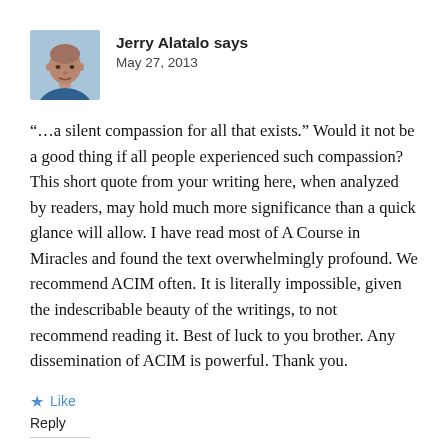[Figure (photo): Small portrait photo of Jerry Alatalo, a man with a shaved head]
Jerry Alatalo says
May 27, 2013
“…a silent compassion for all that exists.” Would it not be a good thing if all people experienced such compassion? This short quote from your writing here, when analyzed by readers, may hold much more significance than a quick glance will allow. I have read most of A Course in Miracles and found the text overwhelmingly profound. We recommend ACIM often. It is literally impossible, given the indescribable beauty of the writings, to not recommend reading it. Best of luck to you brother. Any dissemination of ACIM is powerful. Thank you.
Like
Reply